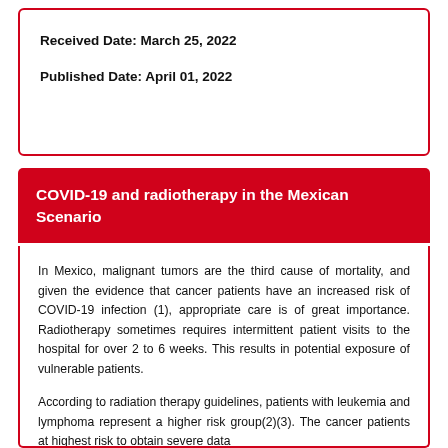Received Date: March 25, 2022
Published Date: April 01, 2022
COVID-19 and radiotherapy in the Mexican Scenario
In Mexico, malignant tumors are the third cause of mortality, and given the evidence that cancer patients have an increased risk of COVID-19 infection (1), appropriate care is of great importance. Radiotherapy sometimes requires intermittent patient visits to the hospital for over 2 to 6 weeks. This results in potential exposure of vulnerable patients.
According to radiation therapy guidelines, patients with leukemia and lymphoma represent a higher risk group(2)(3). The cancer patients at highest risk to obtain severe data...